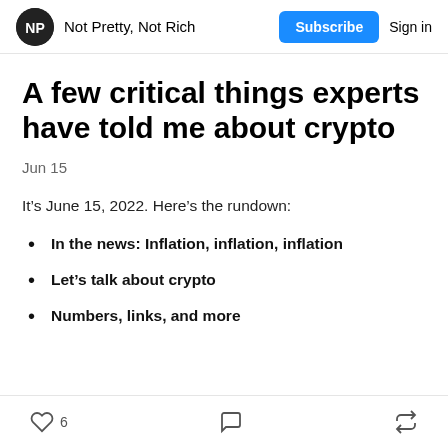Not Pretty, Not Rich | Subscribe | Sign in
A few critical things experts have told me about crypto
Jun 15
It’s June 15, 2022. Here’s the rundown:
In the news: Inflation, inflation, inflation
Let’s talk about crypto
Numbers, links, and more
6 [likes] [comments] [share]